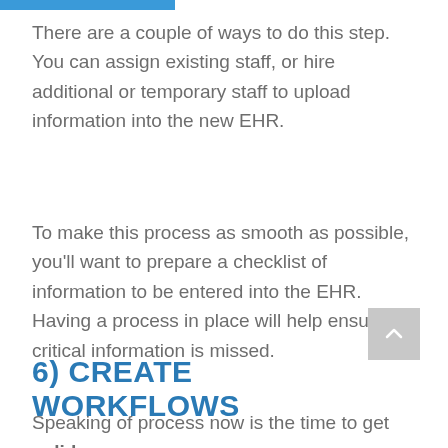There are a couple of ways to do this step. You can assign existing staff, or hire additional or temporary staff to upload information into the new EHR.
To make this process as smooth as possible, you’ll want to prepare a checklist of information to be entered into the EHR. Having a process in place will help ensure no critical information is missed.
6) CREATE WORKFLOWS
Speaking of process now is the time to get solid